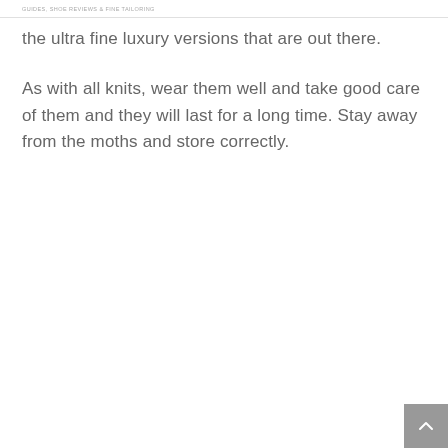GUIDES, SHOE REVIEWS & FINE TAILORING
the ultra fine luxury versions that are out there.
As with all knits, wear them well and take good care of them and they will last for a long time. Stay away from the moths and store correctly.